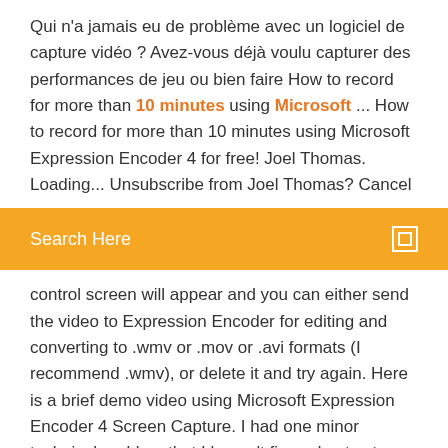Qui n'a jamais eu de problème avec un logiciel de capture vidéo ? Avez-vous déjà voulu capturer des performances de jeu ou bien faire How to record for more than 10 minutes using Microsoft ... How to record for more than 10 minutes using Microsoft Expression Encoder 4 for free! Joel Thomas. Loading... Unsubscribe from Joel Thomas? Cancel
[Figure (other): Orange search bar with text 'Search Here' and a small square icon on the right]
control screen will appear and you can either send the video to Expression Encoder for editing and converting to .wmv or .mov or .avi formats (I recommend .wmv), or delete it and try again. Here is a brief demo video using Microsoft Expression Encoder 4 Screen Capture. I had one minor technical problem that I haven't figured out yet: when ...
Farm hero saga king online
Comment télécharger gratuitement de la musique sur clé usb